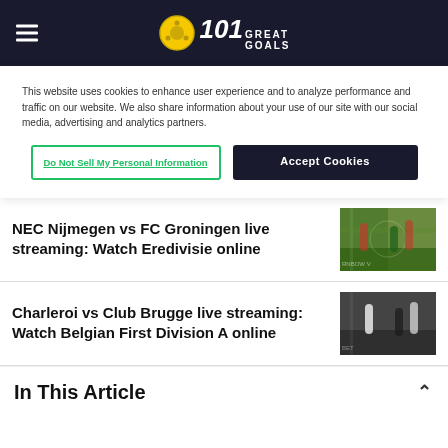101 Great Goals
This website uses cookies to enhance user experience and to analyze performance and traffic on our website. We also share information about your use of our site with our social media, advertising and analytics partners.
Do Not Sell My Personal Information | Accept Cookies
NEC Nijmegen vs FC Groningen live streaming: Watch Eredivisie online
[Figure (photo): Soccer players on field, NEC Nijmegen vs FC Groningen match]
Charleroi vs Club Brugge live streaming: Watch Belgian First Division A online
[Figure (photo): Soccer players on field, Charleroi vs Club Brugge match]
In This Article